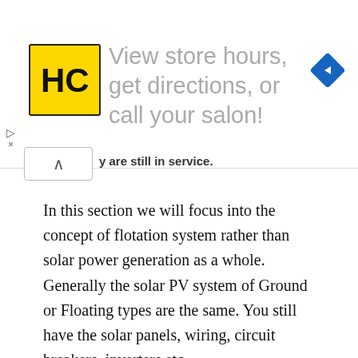[Figure (other): Advertisement banner for a salon locator service showing HC logo, text 'View store hours, get directions, or call your salon!' and a navigation arrow icon]
y are still in service.
In this section we will focus into the concept of flotation system rather than solar power generation as a whole. Generally the solar PV system of Ground or Floating types are the same. You still have the solar panels, wiring, circuit breakers, inverters etc.
To have floating solar farms, the flotation system need to have several of the following properties: